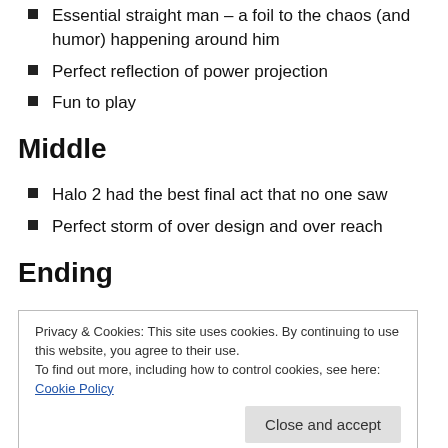Essential straight man – a foil to the chaos (and humor) happening around him
Perfect reflection of power projection
Fun to play
Middle
Halo 2 had the best final act that no one saw
Perfect storm of over design and over reach
Ending
Privacy & Cookies: This site uses cookies. By continuing to use this website, you agree to their use.
To find out more, including how to control cookies, see here: Cookie Policy
Quick to adjust